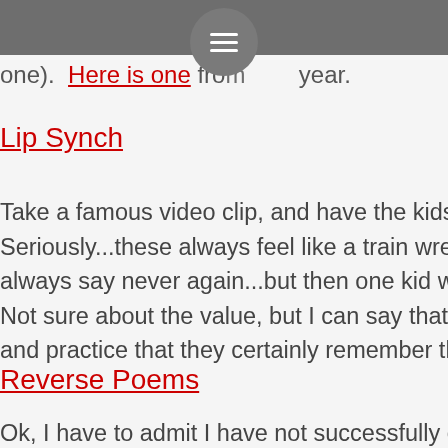≡ (menu icon)
one).  Here is one from  year.
Lip Synch
Take a famous video clip, and have the kids synch... Seriously...these always feel like a train wreck wh... always say never again...but then one kid will con... Not sure about the value, but I can say that it tak... and practice that they certainly remember the fa...
Reverse Poems
Ok, I have to admit I have not successfully com...